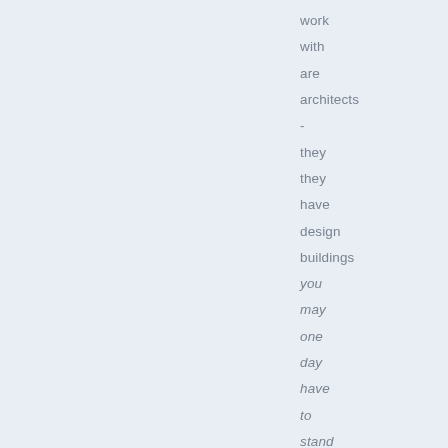work
with
are
architects
-
they
they
have
design
buildings
you
may
one
day
have
to
stand
under.

Be
afraid;
and